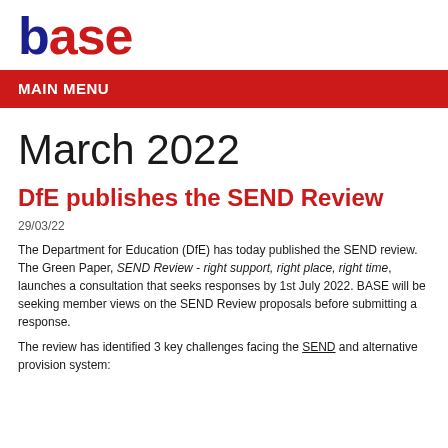[Figure (logo): BASE logo with 'b' in dark blue and 'ase' in red, large bold text]
MAIN MENU
March 2022
DfE publishes the SEND Review
29/03/22
The Department for Education (DfE) has today published the SEND review. The Green Paper, SEND Review - right support, right place, right time, launches a consultation that seeks responses by 1st July 2022. BASE will be seeking member views on the SEND Review proposals before submitting a response.
The review has identified 3 key challenges facing the SEND and alternative provision system: